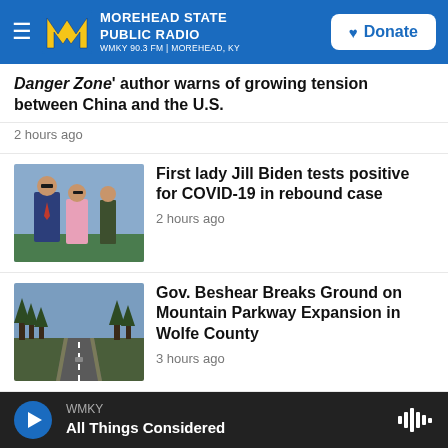[Figure (screenshot): Morehead State Public Radio header with hamburger menu, MSU logo, station name WMKY 90.3 FM | MOREHEAD, KY, and Donate button]
Danger Zone' author warns of growing tension between China and the U.S.
2 hours ago
[Figure (photo): Photo of President Biden and First Lady Jill Biden walking outdoors]
First lady Jill Biden tests positive for COVID-19 in rebound case
2 hours ago
[Figure (photo): Photo of a highway road through wooded area]
Gov. Beshear Breaks Ground on Mountain Parkway Expansion in Wolfe County
3 hours ago
[Figure (photo): Photo of a young man in front of an American flag]
Tuesday brought more evidence abortion rights could help Democrats
[Figure (screenshot): Audio player bar with play button, WMKY label, All Things Considered show name, and waveform icon]